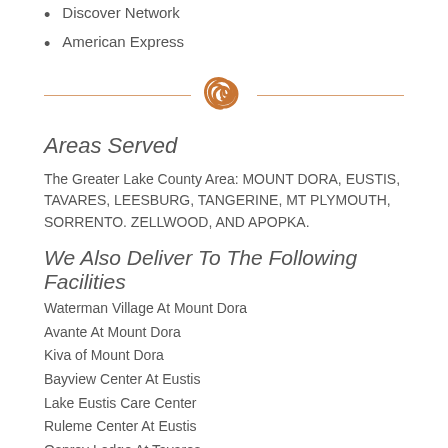Discover Network
American Express
[Figure (illustration): Decorative divider with an orange spiral/swirl icon centered between two horizontal lines]
Areas Served
The Greater Lake County Area: MOUNT DORA, EUSTIS, TAVARES, LEESBURG, TANGERINE, MT PLYMOUTH, SORRENTO. ZELLWOOD, AND APOPKA.
We Also Deliver To The Following Facilities
Waterman Village At Mount Dora
Avante At Mount Dora
Kiva of Mount Dora
Bayview Center At Eustis
Lake Eustis Care Center
Ruleme Center At Eustis
Osprey Lodge At Tavares
Grand Court At Tavares